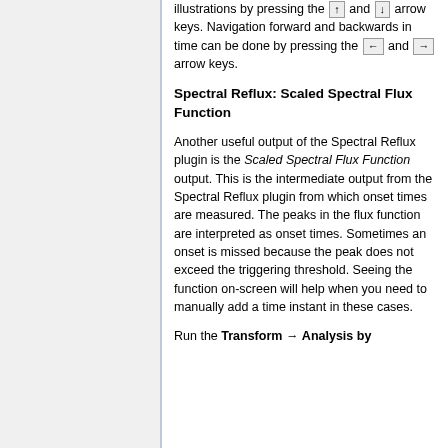illustrations by pressing the ↑ and ↓ arrow keys. Navigation forward and backwards in time can be done by pressing the ← and → arrow keys.
Spectral Reflux: Scaled Spectral Flux Function
Another useful output of the Spectral Reflux plugin is the Scaled Spectral Flux Function output. This is the intermediate output from the Spectral Reflux plugin from which onset times are measured. The peaks in the flux function are interpreted as onset times. Sometimes an onset is missed because the peak does not exceed the triggering threshold. Seeing the function on-screen will help when you need to manually add a time instant in these cases.
Run the Transform → Analysis by